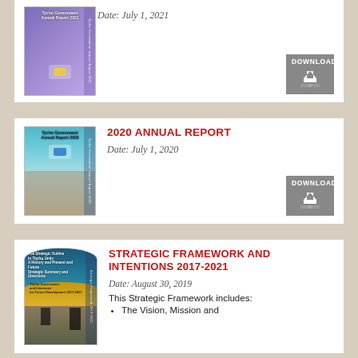[Figure (photo): Tycho Government Annual Report 2021 cover thumbnail]
Date: July 1, 2021
[Figure (other): Download button icon]
2020 ANNUAL REPORT
[Figure (photo): Tycho Government Annual Report 2020 cover thumbnail]
Date: July 1, 2020
[Figure (other): Download button icon]
STRATEGIC FRAMEWORK AND INTENTIONS 2017-2021
[Figure (photo): Strategic Framework and Intentions 2017-2021 cover thumbnail]
Date: August 30, 2019
This Strategic Framework includes:
The Vision, Mission and